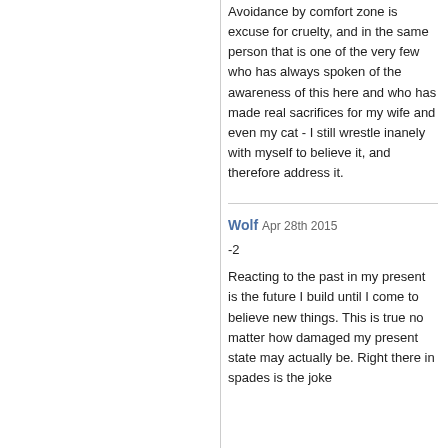Avoidance by comfort zone is excuse for cruelty, and in the same person that is one of the very few who has always spoken of the awareness of this here and who has made real sacrifices for my wife and even my cat - I still wrestle inanely with myself to believe it, and therefore address it.
Wolf Apr 28th 2015
-2
Reacting to the past in my present is the future I build until I come to believe new things. This is true no matter how damaged my present state may actually be. Right there in spades is the joke